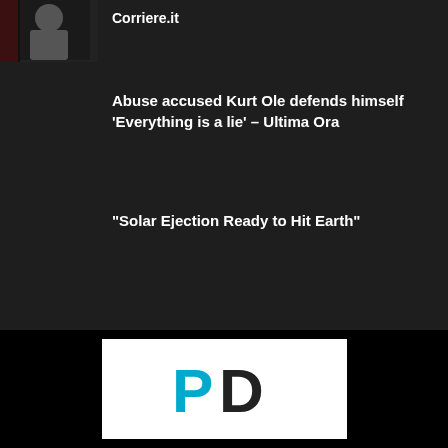[Figure (photo): Thumbnail image of a person, dark background, appears to be a news screenshot]
Corriere.it
Abuse accused Kurt Ole defends himself 'Everything is a lie' – Ultima Ora
“Solar Ejection Ready to Hit Earth”
[Figure (logo): PD logo — stylized letter P in cyan/blue and D in dark gray]